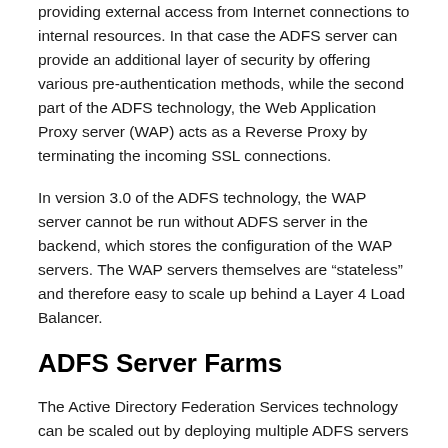providing external access from Internet connections to internal resources. In that case the ADFS server can provide an additional layer of security by offering various pre-authentication methods, while the second part of the ADFS technology, the Web Application Proxy server (WAP) acts as a Reverse Proxy by terminating the incoming SSL connections.
In version 3.0 of the ADFS technology, the WAP server cannot be run without ADFS server in the backend, which stores the configuration of the WAP servers. The WAP servers themselves are “stateless” and therefore easy to scale up behind a Layer 4 Load Balancer.
ADFS Server Farms
The Active Directory Federation Services technology can be scaled out by deploying multiple ADFS servers in a farm model. The once servers’ the configuration from each server